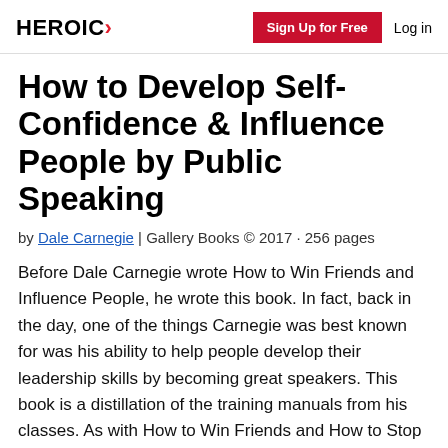HEROIC | Sign Up for Free | Log in
How to Develop Self-Confidence & Influence People by Public Speaking
by Dale Carnegie | Gallery Books © 2017 · 256 pages
Before Dale Carnegie wrote How to Win Friends and Influence People, he wrote this book. In fact, back in the day, one of the things Carnegie was best known for was his ability to help people develop their leadership skills by becoming great speakers. This book is a distillation of the training manuals from his classes. As with How to Win Friends and How to Stop Worrying and Start Living, this book is based on...